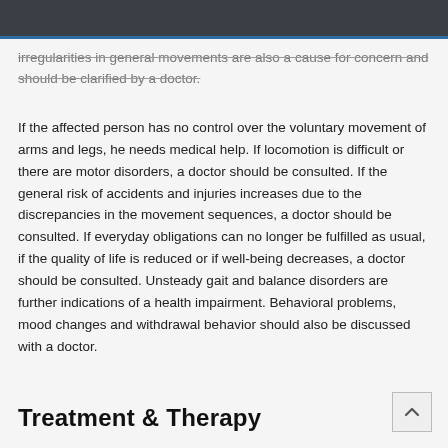irregularities in general movements are also a cause for concern and should be clarified by a doctor.
If the affected person has no control over the voluntary movement of arms and legs, he needs medical help. If locomotion is difficult or there are motor disorders, a doctor should be consulted. If the general risk of accidents and injuries increases due to the discrepancies in the movement sequences, a doctor should be consulted. If everyday obligations can no longer be fulfilled as usual, if the quality of life is reduced or if well-being decreases, a doctor should be consulted. Unsteady gait and balance disorders are further indications of a health impairment. Behavioral problems, mood changes and withdrawal behavior should also be discussed with a doctor.
Treatment & Therapy